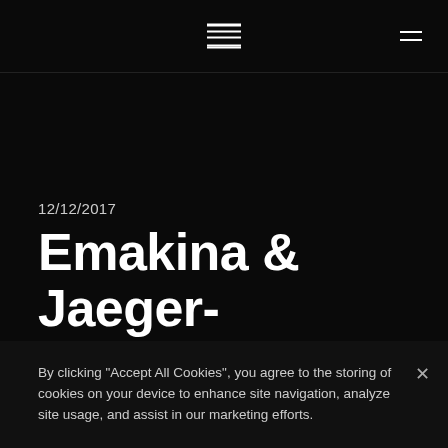Emakina logo / navigation header
12/12/2017
Emakina & Jaeger-LeCoultre Win ‘Best of Web’ Innovation Award
By clicking "Accept All Cookies", you agree to the storing of cookies on your device to enhance site navigation, analyze site usage, and assist in our marketing efforts.